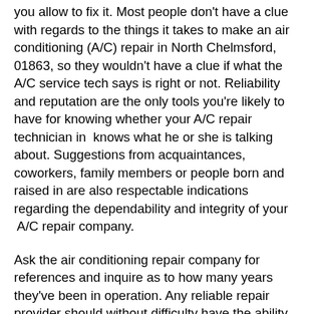you allow to fix it. Most people don't have a clue with regards to the things it takes to make an air conditioning (A/C) repair in North Chelmsford, 01863, so they wouldn't have a clue if what the A/C service tech says is right or not. Reliability and reputation are the only tools you're likely to have for knowing whether your A/C repair technician in  knows what he or she is talking about. Suggestions from acquaintances, coworkers, family members or people born and raised in are also respectable indications regarding the dependability and integrity of your  A/C repair company.
Ask the air conditioning repair company for references and inquire as to how many years they've been in operation. Any reliable repair provider should without difficulty have the ability to provide you with a listing of satisfied St. Louis, MO customers. Doing an A/C repair involves special equipment, such as air conditioning pressure gauges and Freon or supplementary cooling gas supplies. Older air conditioner models utilize a special type of Freon and may be ruined if serviced incorrectly. Newer air conditioner systems use different types of gas in order to operate well and still meet EPA requirements